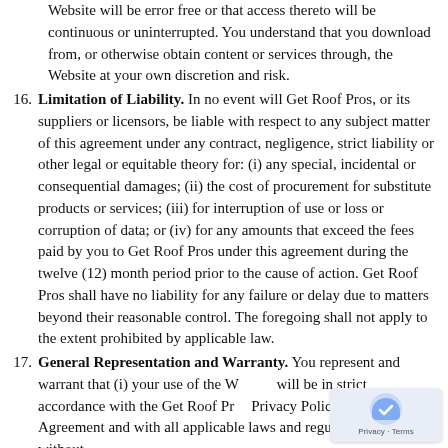Website will be error free or that access thereto will be continuous or uninterrupted. You understand that you download from, or otherwise obtain content or services through, the Website at your own discretion and risk.
16. Limitation of Liability. In no event will Get Roof Pros, or its suppliers or licensors, be liable with respect to any subject matter of this agreement under any contract, negligence, strict liability or other legal or equitable theory for: (i) any special, incidental or consequential damages; (ii) the cost of procurement for substitute products or services; (iii) for interruption of use or loss or corruption of data; or (iv) for any amounts that exceed the fees paid by you to Get Roof Pros under this agreement during the twelve (12) month period prior to the cause of action. Get Roof Pros shall have no liability for any failure or delay due to matters beyond their reasonable control. The foregoing shall not apply to the extent prohibited by applicable law.
17. General Representation and Warranty. You represent and warrant that (i) your use of the Website will be in strict accordance with the Get Roof Pros Privacy Policy, with this Agreement and with all applicable laws and regulations (including without